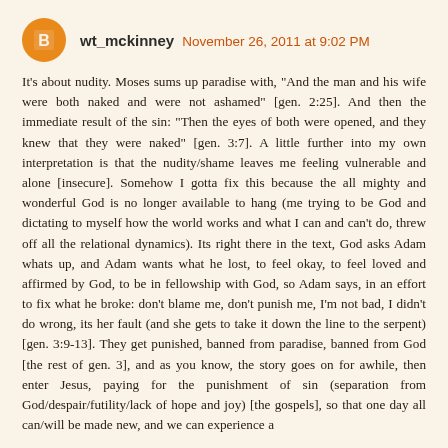wt_mckinney  November 26, 2011 at 9:02 PM
It's about nudity. Moses sums up paradise with, "And the man and his wife were both naked and were not ashamed" [gen. 2:25]. And then the immediate result of the sin: "Then the eyes of both were opened, and they knew that they were naked" [gen. 3:7]. A little further into my own interpretation is that the nudity/shame leaves me feeling vulnerable and alone [insecure]. Somehow I gotta fix this because the all mighty and wonderful God is no longer available to hang (me trying to be God and dictating to myself how the world works and what I can and can't do, threw off all the relational dynamics). Its right there in the text, God asks Adam whats up, and Adam wants what he lost, to feel okay, to feel loved and affirmed by God, to be in fellowship with God, so Adam says, in an effort to fix what he broke: don't blame me, don't punish me, I'm not bad, I didn't do wrong, its her fault (and she gets to take it down the line to the serpent) [gen. 3:9-13]. They get punished, banned from paradise, banned from God [the rest of gen. 3], and as you know, the story goes on for awhile, then enter Jesus, paying for the punishment of sin (separation from God/despair/futility/lack of hope and joy) [the gospels], so that one day all can/will be made new, and we can experience a